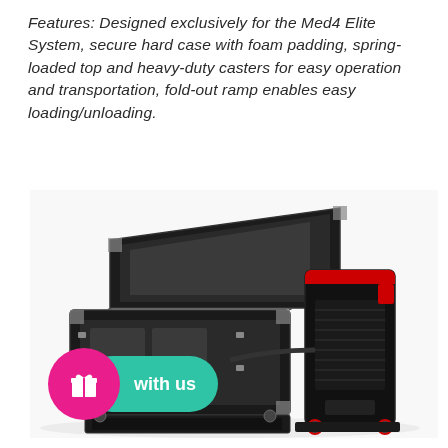Features: Designed exclusively for the Med4 Elite System, secure hard case with foam padding, spring-loaded top and heavy-duty casters for easy operation and transportation, fold-out ramp enables easy loading/unloading.
[Figure (photo): Photo of a Med4 Elite System medical device shown beside an open black hard-shell transport case with foam padding and spring-loaded top. The case sits on heavy-duty casters and has a fold-out ramp. The Med4 device is a tall black unit with red accent lights. A pink circle badge with a gift icon and a teal pill-shaped button with text 'with us' are overlaid in the bottom-left corner.]